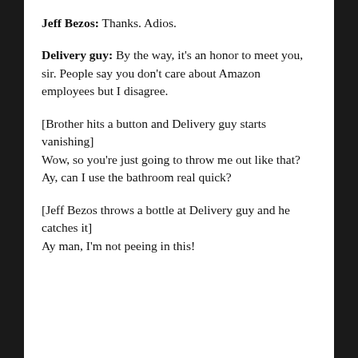Jeff Bezos: Thanks. Adios.
Delivery guy: By the way, it's an honor to meet you, sir. People say you don't care about Amazon employees but I disagree.
[Brother hits a button and Delivery guy starts vanishing]
Wow, so you're just going to throw me out like that? Ay, can I use the bathroom real quick?
[Jeff Bezos throws a bottle at Delivery guy and he catches it]
Ay man, I'm not peeing in this!